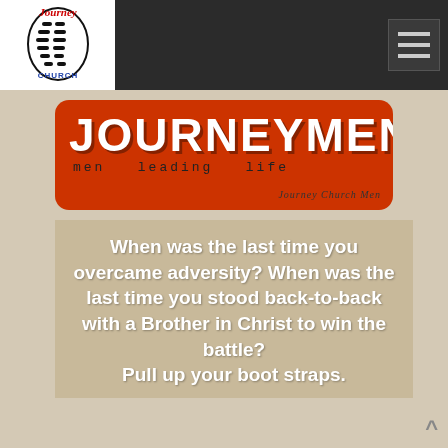[Figure (logo): Journey Church logo with boot print and 'Journey Church' text in red/blue]
[Figure (illustration): JOURNEYMEN banner: orange-red rounded rectangle with large white stencil text JOURNEYMEN, subtitle 'men leading life' and 'Journey Church Men' on the right]
When was the last time you overcame adversity? When was the last time you stood back-to-back with a Brother in Christ to win the battle? Pull up your boot straps.